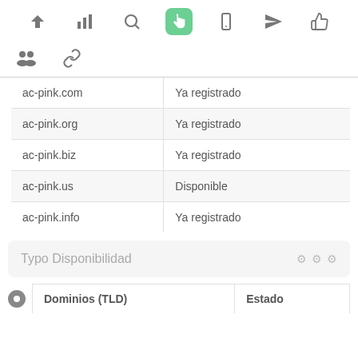[Figure (screenshot): Top navigation toolbar with icons: up arrow, bar chart, search, hand pointer (active/green), mobile, send, thumbs up]
[Figure (screenshot): Second toolbar row with people group icon and chain link icon]
| ac-pink.com | Ya registrado |
| ac-pink.org | Ya registrado |
| ac-pink.biz | Ya registrado |
| ac-pink.us | Disponible |
| ac-pink.info | Ya registrado |
Typo Disponibilidad
| Dominios (TLD) | Estado |
| --- | --- |